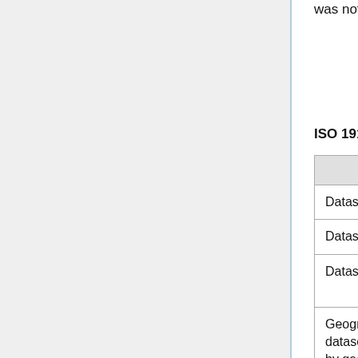was not available to complete and publish the African profile of ISO 19115:2003.
ISO 19115:2003 Core p
| Metadata | Metadata |
| --- | --- |
| Dataset title (M) | (MD_Metadata > MD_Data CI_Citation.title) |
| Dataset reference date (M) | (MD_Metadata > MD_Data CI_Citation.date) |
| Dataset responsible party (O) | (MD_Metadata > MD_DataIdentification.poi CI_ResponsibleParty) |
| Geographic location of the dataset (by four coordinates or by geographic | (MD_Metadata > MD_Data EX_Extent > EX_Geograp EX_GeographicBoundingB EX_GeographicDescriptio |